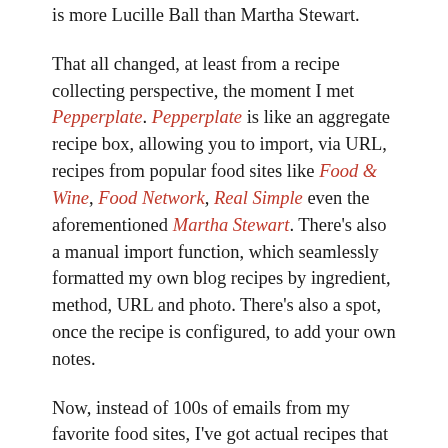is more Lucille Ball than Martha Stewart.
That all changed, at least from a recipe collecting perspective, the moment I met Pepperplate. Pepperplate is like an aggregate recipe box, allowing you to import, via URL, recipes from popular food sites like Food & Wine, Food Network, Real Simple even the aforementioned Martha Stewart. There's also a manual import function, which seamlessly formatted my own blog recipes by ingredient, method, URL and photo. There's also a spot, once the recipe is configured, to add your own notes.
Now, instead of 100s of emails from my favorite food sites, I've got actual recipes that I can sort by user-defined category. When I've got a moment here and there, I'll sort through my virtual email recipe collection, purging recipes in the "what was I